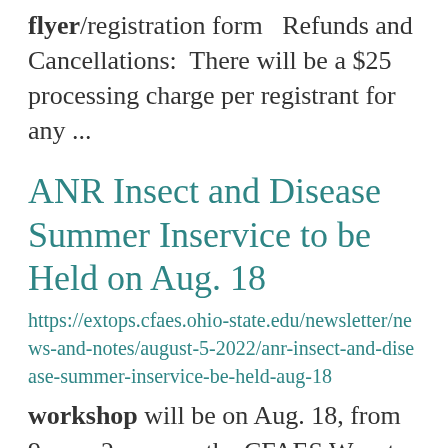flyer/registration form   Refunds and Cancellations:  There will be a $25 processing charge per registrant for any ...
ANR Insect and Disease Summer Inservice to be Held on Aug. 18
https://extops.cfaes.ohio-state.edu/newsletter/news-and-notes/august-5-2022/anr-insect-and-disease-summer-inservice-be-held-aug-18
workshop will be on Aug. 18, from 9 a.m.-2 p.m. on the CFAES Wooster campus. See the attached flyer for ... and Plant Pathology will be hosting a workshop with in-field scouting demonstrations and presentations ...